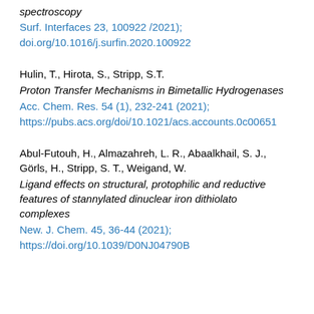spectroscopy
Surf. Interfaces 23, 100922 /2021);
doi.org/10.1016/j.surfin.2020.100922
Hulin, T., Hirota, S., Stripp, S.T.
Proton Transfer Mechanisms in Bimetallic Hydrogenases
Acc. Chem. Res. 54 (1), 232-241 (2021);
https://pubs.acs.org/doi/10.1021/acs.accounts.0c00651
Abul-Futouh, H., Almazahreh, L. R., Abaalkhail, S. J., Görls, H., Stripp, S. T., Weigand, W.
Ligand effects on structural, protophilic and reductive features of stannylated dinuclear iron dithiolato complexes
New. J. Chem. 45, 36-44 (2021);
https://doi.org/10.1039/D0NJ04790B